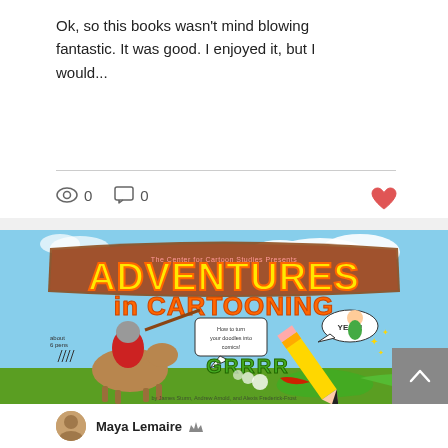Ok, so this books wasn't mind blowing fantastic. It was good. I enjoyed it, but I would...
[Figure (illustration): Book cover of 'Adventures in Cartooning' by The Center for Cartoon Studies. Large yellow bold title text 'ADVENTURES in CARTOONING' on a blue sky background. Shows a cartoon knight on horseback, a crocodile breathing steam, a pencil character with a small elf figure, text bubbles reading 'YEAH!' and 'How to turn your doodles into comics!', and the word 'GRRRR'. Subtitle: 'word balloons', 'sound effects', 'pencil'.]
Maya Lemaire